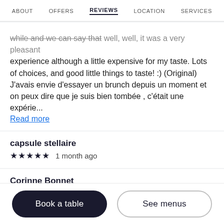ABOUT   OFFERS   REVIEWS   LOCATION   SERVICES
while and we can say that- well, well, it was a very pleasant experience although a little expensive for my taste. Lots of choices, and good little things to taste! :) (Original) J'avais envie d'essayer un brunch depuis un moment et on peux dire que je suis bien tombée , c'était une expérie...
Read more
capsule stellaire
★★★★★  1 month ago
Corinne Bonnet
★★★★★  1 month ago
Book a table
See menus